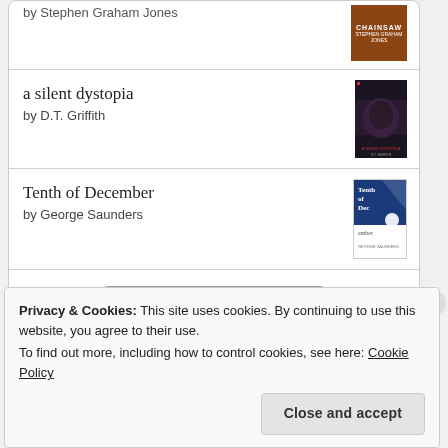by Stephen Graham Jones
a silent dystopia
by D.T. Griffith
Tenth of December
by George Saunders
[Figure (logo): Goodreads logo button with border]
Privacy & Cookies: This site uses cookies. By continuing to use this website, you agree to their use.
To find out more, including how to control cookies, see here: Cookie Policy
Close and accept